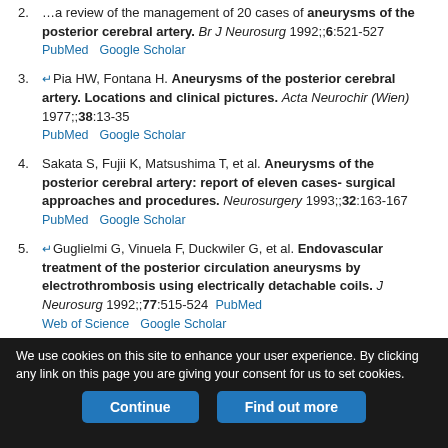2. [partial] ...a review of the management of 20 cases of aneurysms of the posterior cerebral artery. Br J Neurosurg 1992;;6:521-527  PubMed  Google Scholar
3. Pia HW, Fontana H. Aneurysms of the posterior cerebral artery. Locations and clinical pictures. Acta Neurochir (Wien) 1977;;38:13-35  PubMed  Google Scholar
4. Sakata S, Fujii K, Matsushima T, et al. Aneurysms of the posterior cerebral artery: report of eleven cases- surgical approaches and procedures. Neurosurgery 1993;;32:163-167  PubMed  Google Scholar
5. Guglielmi G, Vinuela F, Duckwiler G, et al. Endovascular treatment of the posterior circulation aneurysms by electrothrombosis using electrically detachable coils. J Neurosurg 1992;;77:515-524  PubMed  Web of Science  Google Scholar
6. [partial] Seoane ER, Tedeschi H, de Oliveira E, Siqueira MG, Calderon GA...
We use cookies on this site to enhance your user experience. By clicking any link on this page you are giving your consent for us to set cookies.